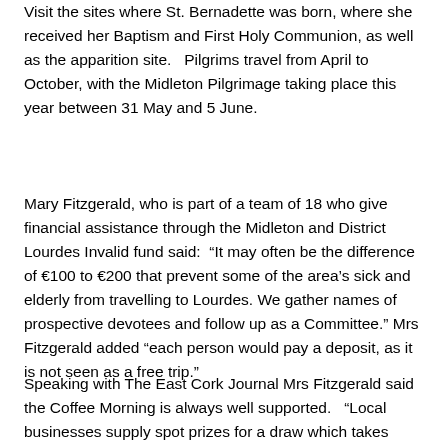Visit the sites where St. Bernadette was born, where she received her Baptism and First Holy Communion, as well as the apparition site.   Pilgrims travel from April to October, with the Midleton Pilgrimage taking place this year between 31 May and 5 June.
Mary Fitzgerald, who is part of a team of 18 who give financial assistance through the Midleton and District Lourdes Invalid fund said:  “It may often be the difference of €100 to €200 that prevent some of the area’s sick and elderly from travelling to Lourdes. We gather names of prospective devotees and follow up as a Committee.” Mrs Fitzgerald added “each person would pay a deposit, as it is not seen as a free trip.”
Speaking with The East Cork Journal Mrs Fitzgerald said the Coffee Morning is always well supported.   “Local businesses supply spot prizes for a draw which takes place on the morning, for which I am very grateful.”  East Cork also has a long history